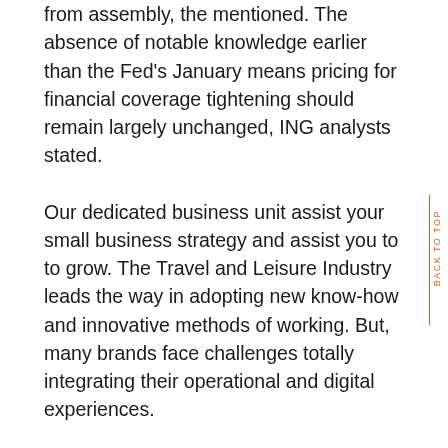from assembly, the mentioned. The absence of notable knowledge earlier than the Fed's January means pricing for financial coverage tightening should remain largely unchanged, ING analysts stated.
Our dedicated business unit assist your small business strategy and assist you to to grow. The Travel and Leisure Industry leads the way in adopting new know-how and innovative methods of working. But, many brands face challenges totally integrating their operational and digital experiences.
Votes added by the magazine's readers are taken into consideration to acknowledge and provides